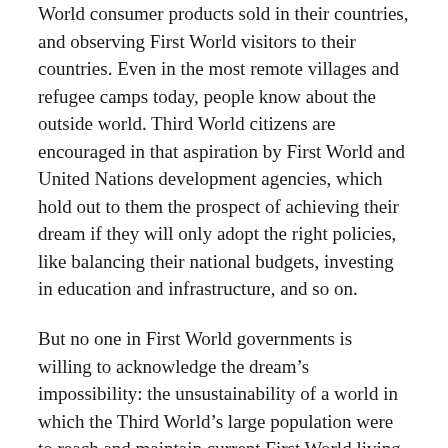World consumer products sold in their countries, and observing First World visitors to their countries. Even in the most remote villages and refugee camps today, people know about the outside world. Third World citizens are encouraged in that aspiration by First World and United Nations development agencies, which hold out to them the prospect of achieving their dream if they will only adopt the right policies, like balancing their national budgets, investing in education and infrastructure, and so on.
But no one in First World governments is willing to acknowledge the dream's impossibility: the unsustainability of a world in which the Third World's large population were to reach and maintain current First World living standards. It is impossible for the First World to resolve that dilemma by blocking the Third World's efforts to catch up: South